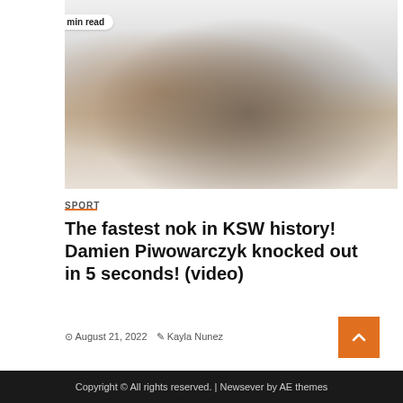[Figure (photo): MMA fighter pinning opponent on the mat during KSW fight, with '1 min read' badge overlay in top-left of image]
SPORT
The fastest nok in KSW history! Damien Piwowarczyk knocked out in 5 seconds! (video)
August 21, 2022  Kayla Nunez
Copyright © All rights reserved. | Newsever by AE themes